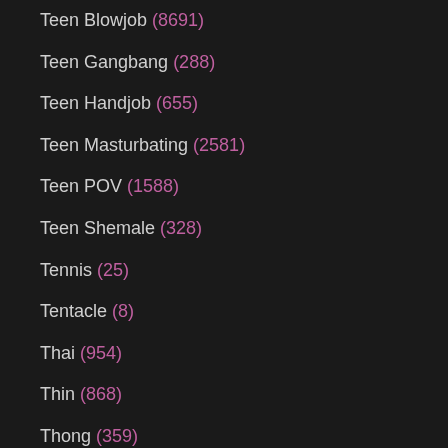Teen Blowjob (8691)
Teen Gangbang (288)
Teen Handjob (655)
Teen Masturbating (2581)
Teen POV (1588)
Teen Shemale (328)
Tennis (25)
Tentacle (8)
Thai (954)
Thin (868)
Thong (359)
Threesome (8920)
Throat Fucked (1503)
Tickling (90)
Tied (561)